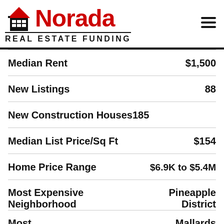[Figure (logo): Norada Real Estate Funding logo with house icon]
|  |  |
| --- | --- |
| Median Rent | $1,500 |
| New Listings | 88 |
| New Construction Houses | 185 |
| Median List Price/Sq Ft | $154 |
| Home Price Range | $6.9K to $5.4M |
| Most Expensive Neighborhood | Pineapple District |
| Most | Mallards |